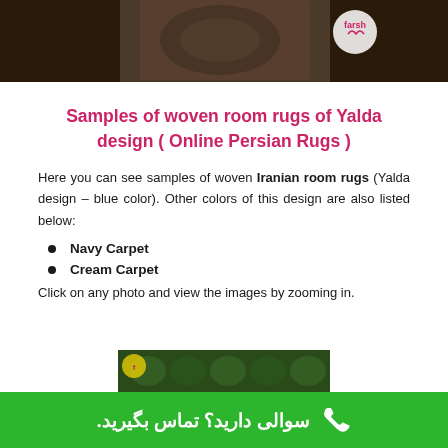[Figure (photo): Top portion of a rug/carpet product image with a logo partially visible]
Samples of woven room rugs of Yalda design ( Online Persian Rugs )
Here you can see samples of woven Iranian room rugs (Yalda design – blue color). Other colors of this design are also listed below:
Navy Carpet
Cream Carpet
Click on any photo and view the images by zooming in.
[Figure (photo): Bottom portion of a rug/carpet product image, partially visible]
سوالی دارید؟ تماس بگیرید.